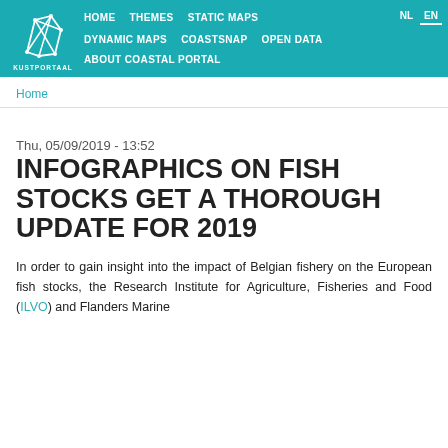HOME  THEMES  STATIC MAPS  NL  EN  DYNAMIC MAPS  COASTSNAP  OPEN DATA  ABOUT COASTAL PORTAL  KUSTPORTAAL
Home
Thu, 05/09/2019 - 13:52
INFOGRAPHICS ON FISH STOCKS GET A THOROUGH UPDATE FOR 2019
In order to gain insight into the impact of Belgian fishery on the European fish stocks, the Research Institute for Agriculture, Fisheries and Food (ILVO) and Flanders Marine